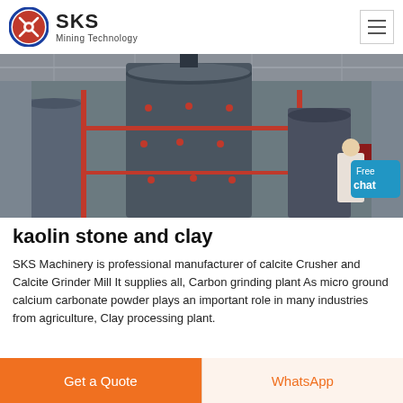SKS Mining Technology
[Figure (photo): Industrial mining machinery - large cylindrical grinding mill equipment inside a factory warehouse with red scaffolding framework. A person in white is visible on the right side with a blue chat bubble overlay reading 'Free chat'.]
kaolin stone and clay
SKS Machinery is professional manufacturer of calcite Crusher and Calcite Grinder Mill It supplies all, Carbon grinding plant As micro ground calcium carbonate powder plays an important role in many industries from agriculture, Clay processing plant.
Get a Quote
WhatsApp